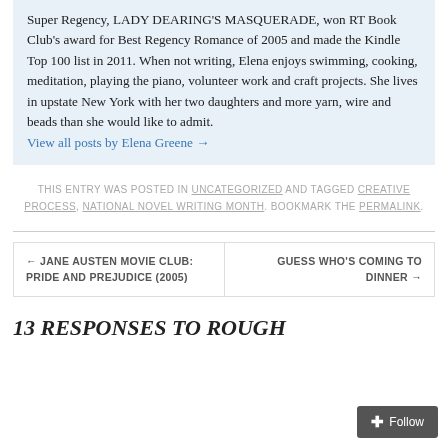Super Regency, LADY DEARING'S MASQUERADE, won RT Book Club's award for Best Regency Romance of 2005 and made the Kindle Top 100 list in 2011. When not writing, Elena enjoys swimming, cooking, meditation, playing the piano, volunteer work and craft projects. She lives in upstate New York with her two daughters and more yarn, wire and beads than she would like to admit. View all posts by Elena Greene →
THIS ENTRY WAS POSTED IN UNCATEGORIZED AND TAGGED CREATIVE PROCESS, NATIONAL NOVEL WRITING MONTH. BOOKMARK THE PERMALINK.
← JANE AUSTEN MOVIE CLUB: PRIDE AND PREJUDICE (2005)
GUESS WHO'S COMING TO DINNER →
13 RESPONSES TO ROUGH